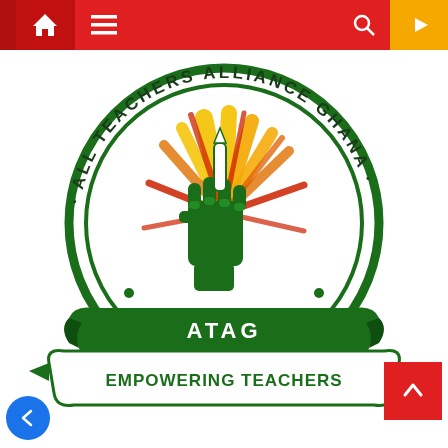[Figure (logo): Website navigation bar with red background, home icon, hamburger menu, search icon, and yellow YouTube button]
[Figure (logo): ATAG - All Teachers Alliance Ghana logo. Circular green border with organization name around the edge. Center shows a raised fist holding a torch/pen with orange and red sunburst rays. Bottom banner reads 'ATAG' and 'EMPOWERING TEACHERS'. Tagline beneath circle.]